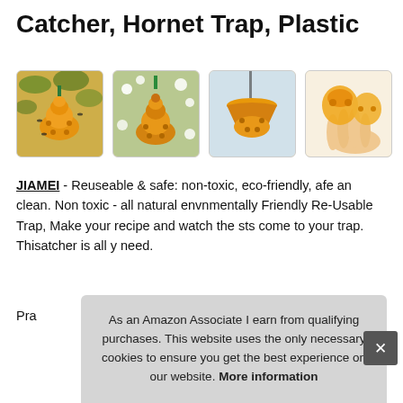Catcher, Hornet Trap, Plastic
[Figure (photo): Four product photos of an orange/amber plastic hornet trap. First photo: trap hanging from tree with insects around it. Second photo: amber-colored trap hanging among white flowers. Third photo: trap hanging outdoors, showing top funnel shape. Fourth photo: hand holding the disassembled plastic trap components.]
JIAMEI - Reuseable & safe: non-toxic, eco-friendly, afe an clean. Non toxic - all natural envnmentally Friendly Re-Usable Trap, Make your recipe and watch the sts come to your trap. Thisatcher is all y need.
Prac trap effe jack cam
As an Amazon Associate I earn from qualifying purchases. This website uses the only necessary cookies to ensure you get the best experience on our website. More information